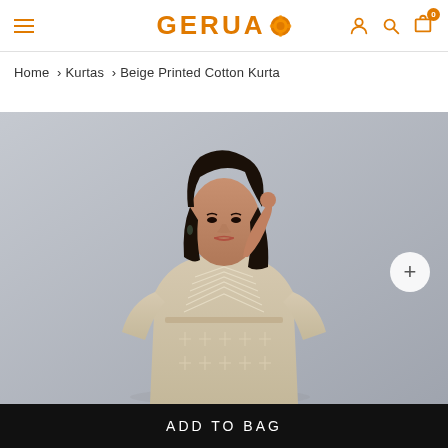GERUA [logo with orange ball icon] — navigation: hamburger menu, user icon, search icon, cart (0)
Home › Kurtas › Beige Printed Cotton Kurta
[Figure (photo): Model wearing a beige printed cotton kurta with white embroidery chevron and cross patterns, 3/4 sleeves, photographed against a grey background. A white circular plus (+) button appears in the upper right of the image.]
ADD TO BAG